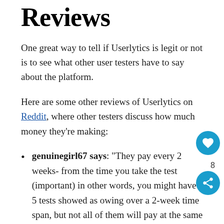Reviews
One great way to tell if Userlytics is legit or not is to see what other user testers have to say about the platform.
Here are some other reviews of Userlytics on Reddit, where other testers discuss how much money they’re making:
genuinegirl67 says: “They pay every 2 weeks- from the time you take the test (important) in other words, you might have 5 tests showed as owing over a 2-week time span, but not all of them will pay at the same time. I earn plenty of money on Userlytics, but it takes a while to get